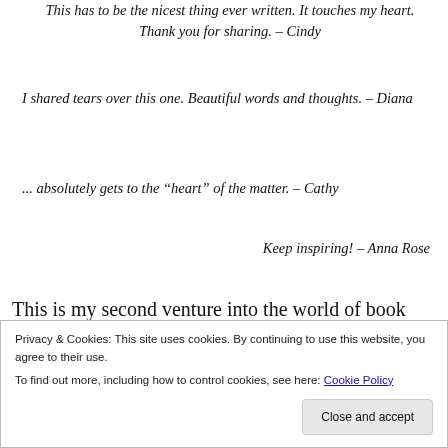This has to be the nicest thing ever written. It touches my heart. Thank you for sharing. – Cindy
I shared tears over this one. Beautiful words and thoughts. – Diana
... absolutely gets to the “heart” of the matter. – Cathy
Keep inspiring! – Anna Rose
This is my second venture into the world of book publishing. I released my first novella, Heaven Shining Through, last March. For a first time venture, the novella
Privacy & Cookies: This site uses cookies. By continuing to use this website, you agree to their use.
To find out more, including how to control cookies, see here: Cookie Policy
Close and accept